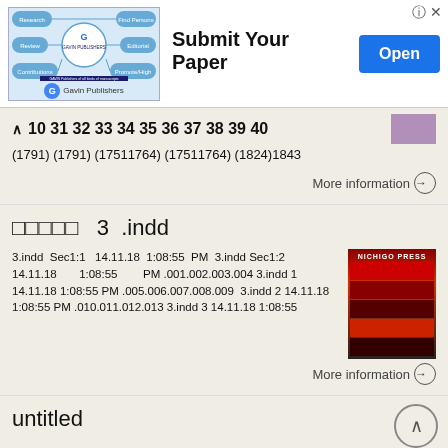[Figure (infographic): Gavin Publishers ad banner with workflow diagram showing Research, Find Persons, Review, Editorial, Contributions, Promote/Highlights flow. Title: Submit Your Paper. Open button.]
30 31 32 33 34 35 36 37 38 39 40
(1791) (1791) (17511764) (17511764) (1824)1843
More information →
□□□□□  3  .indd
3.indd  Sec1:1  14.11.18  1:08:55  PM  3.indd  Sec1:2  14.11.18  1:08:55  PM  .001.002.003.004 3.indd 1 14.11.18 1:08:55  PM .005.006.007.008.009  3.indd 2  14.11.18  1:08:55 PM .010.011.012.013 3.indd 3 14.11.18 1:08:55
More information →
untitled